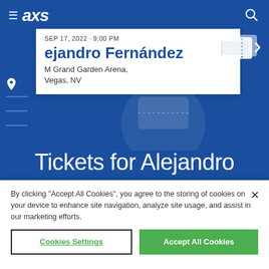≡ axs
SEP 17, 2022 · 9:00 PM
ejandro Fernández
M Grand Garden Arena, Vegas, NV
Tickets for Alejandro
By clicking "Accept All Cookies", you agree to the storing of cookies on your device to enhance site navigation, analyze site usage, and assist in our marketing efforts.
Cookies Settings
Accept All Cookies